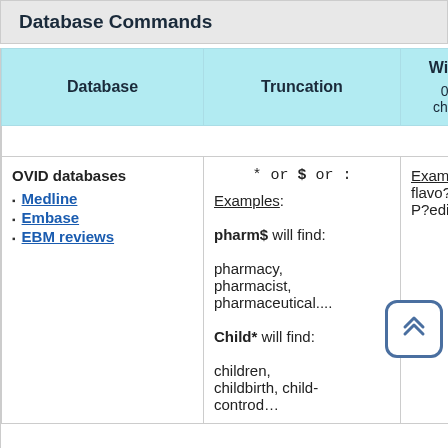Database Commands
| Database | Truncation | Wildc… 0 or more chara… |
| --- | --- | --- |
| OVID databases
• Medline
• Embase
• EBM reviews | * or $ or :
Examples:
pharm$ will find:
pharmacy, pharmacist, pharmaceutical....
Child* will find:
children, childbirth, child-controd... | Examp…
flavo?r…
P?edia… |